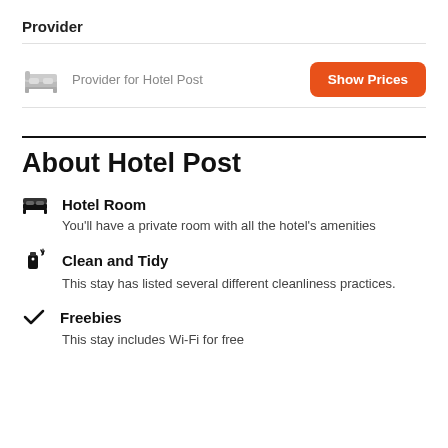Provider
Provider for Hotel Post
Show Prices
About Hotel Post
Hotel Room
You'll have a private room with all the hotel's amenities
Clean and Tidy
This stay has listed several different cleanliness practices.
Freebies
This stay includes Wi-Fi for free